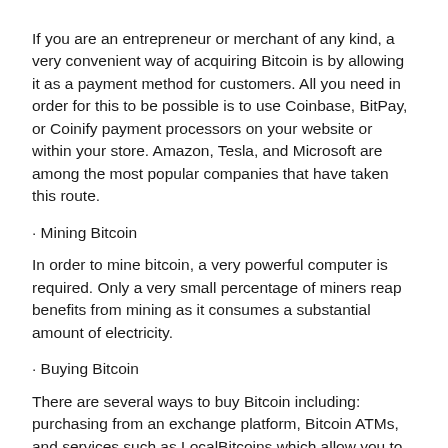If you are an entrepreneur or merchant of any kind, a very convenient way of acquiring Bitcoin is by allowing it as a payment method for customers. All you need in order for this to be possible is to use Coinbase, BitPay, or Coinify payment processors on your website or within your store. Amazon, Tesla, and Microsoft are among the most popular companies that have taken this route.
· Mining Bitcoin
In order to mine bitcoin, a very powerful computer is required. Only a very small percentage of miners reap benefits from mining as it consumes a substantial amount of electricity.
· Buying Bitcoin
There are several ways to buy Bitcoin including: purchasing from an exchange platform, Bitcoin ATMs, and services such as LocalBitcoins which allow you to buy Bitcoin from an individual near you.